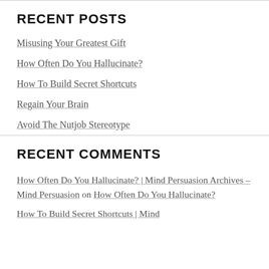RECENT POSTS
Misusing Your Greatest Gift
How Often Do You Hallucinate?
How To Build Secret Shortcuts
Regain Your Brain
Avoid The Nutjob Stereotype
RECENT COMMENTS
How Often Do You Hallucinate? | Mind Persuasion Archives – Mind Persuasion on How Often Do You Hallucinate?
How To Build Secret Shortcuts | Mind